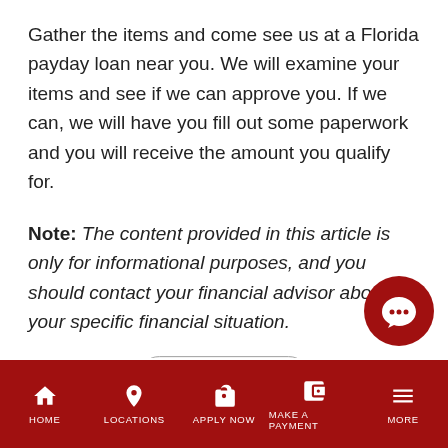Gather the items and come see us at a Florida payday loan near you. We will examine your items and see if we can approve you. If we can, we will have you fill out some paperwork and you will receive the amount you qualify for.
Note: The content provided in this article is only for informational purposes, and you should contact your financial advisor about your specific financial situation.
[Figure (other): Lifestyle button tag/pill]
[Figure (photo): Partial photo of a man with glasses and brown hair, partially cropped at the bottom of the page]
[Figure (other): Red circular chat/message button in lower right corner]
HOME   LOCATIONS   APPLY NOW   MAKE A PAYMENT   MORE